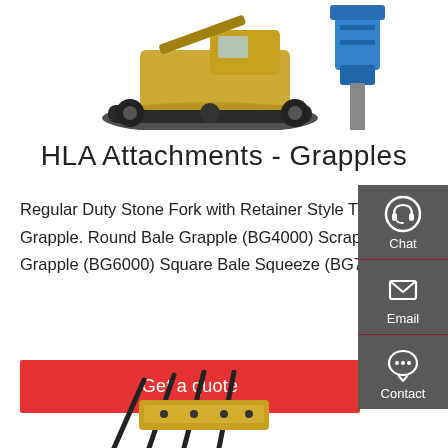[Figure (photo): Top of page: partial view of a tracked excavator/loader machine on the left and a blue hydraulic breaker attachment on the right, on white background]
HLA Attachments - Grapples
Regular Duty Stone Fork with Retainer Style Tine & Skidsteer Grapple. Regular Utility Grapple. Root Rake c/w Grapple. Round Bale Grapple (BG4000) Scrap Grapple Bucket (Skidsteer) Single Arm Log Grapple. Square Bale Grapple (BG6000) Square Bale Squeeze (BG7000) Standard Skidsteer Bucket & Skidsteer Grapple.
[Figure (illustration): Chat icon (headset silhouette) with label 'Chat' in the sidebar]
[Figure (illustration): Email icon (envelope) with label 'Email' in the sidebar]
[Figure (illustration): Contact icon (speech bubble with dots) with label 'Contact' in the sidebar]
Get a quote
[Figure (photo): Bottom partial view of a yellow and black rake/tine attachment against white background]